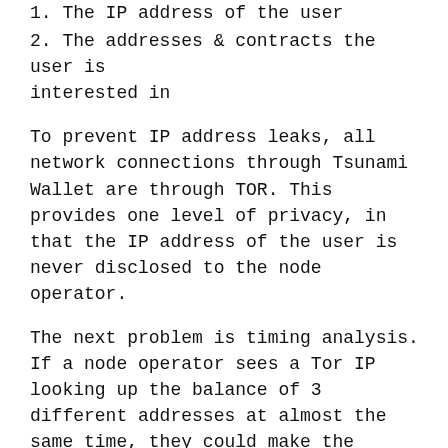1. The IP address of the user
2. The addresses & contracts the user is interested in
To prevent IP address leaks, all network connections through Tsunami Wallet are through TOR. This provides one level of privacy, in that the IP address of the user is never disclosed to the node operator.
The next problem is timing analysis. If a node operator sees a Tor IP looking up the balance of 3 different addresses at almost the same time, they could make the assumption that the three addresses may be linked in some way.